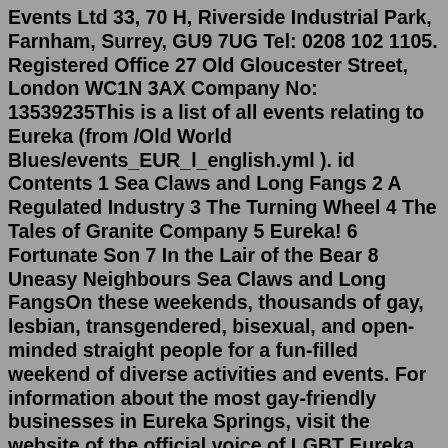Events Ltd 33, 70 H, Riverside Industrial Park, Farnham, Surrey, GU9 7UG Tel: 0208 102 1105. Registered Office 27 Old Gloucester Street, London WC1N 3AX Company No: 13539235This is a list of all events relating to Eureka (from /Old World Blues/events_EUR_l_english.yml ). id Contents 1 Sea Claws and Long Fangs 2 A Regulated Industry 3 The Turning Wheel 4 The Tales of Granite Company 5 Eureka! 6 Fortunate Son 7 In the Lair of the Bear 8 Uneasy Neighbours Sea Claws and Long FangsOn these weekends, thousands of gay, lesbian, transgendered, bisexual, and open-minded straight people for a fun-filled weekend of diverse activities and events. For information about the most gay-friendly businesses in Eureka Springs, visit the website of the official voice of LGBT Eureka Springs at www.outineureka.com. Life. Sky Wars 2022 - 17th Annual MOpyro Invitational Fireworks ChampionshipSky Wars 2022 - 17th Annual MOpyro Invitational Fireworks Championship. Sat, Sep 24, 2:00 PM. Wright City/Innsbrook Missouri • Wright